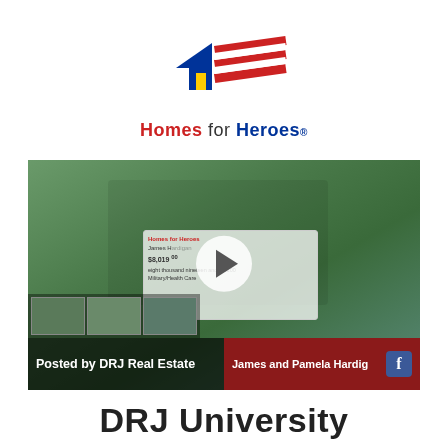[Figure (logo): Homes for Heroes logo — stylized American flag with house icon, red white and blue. Text below reads 'Homes for Heroes']
[Figure (photo): Video thumbnail showing three people holding a large check for 'Military/Health Care'. Bottom overlay shows 'Posted by DRJ Real Estate' on left and 'James and Pamela Hardig' on red background right, with Facebook icon. Thumbnail strip at bottom left.]
DRJ University